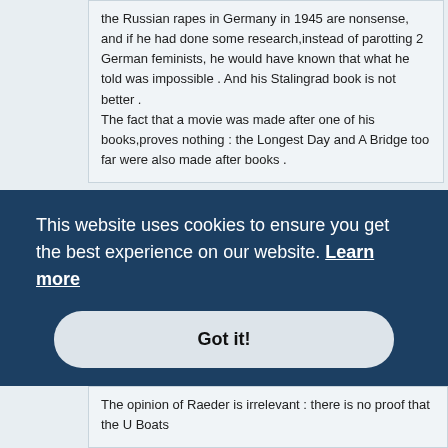the Russian rapes in Germany in 1945 are nonsense, and if he had done some research,instead of parotting 2 German feminists, he would have known that what he told was impossible . And his Stalingrad book is not better .
The fact that a movie was made after one of his books,proves nothing : the Longest Day and A Bridge too far were also made after books .
I had look here on the internet and couldn't find much controversy about his work. At least not in the Western Countries. In Russia, however, things are different. Perhaps you could provide me with more information on the issue?
And the fact alone that he got data from a feminist doesn't necessarily mean that it's fault data what he's using. Don't generalize things!
This website uses cookies to ensure you get the best experience on our website. Learn more
Got it!
The opinion of Raeder is irrelevant : there is no proof that the U Boats